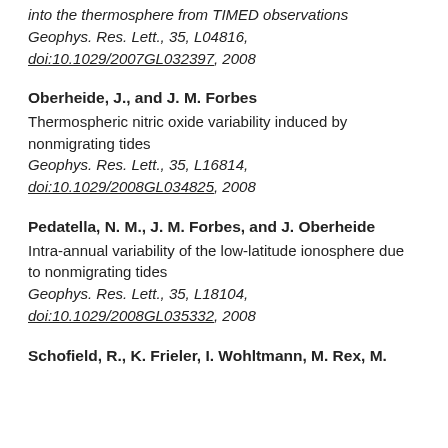into the thermosphere from TIMED observations Geophys. Res. Lett., 35, L04816, doi:10.1029/2007GL032397, 2008
Oberheide, J., and J. M. Forbes
Thermospheric nitric oxide variability induced by nonmigrating tides
Geophys. Res. Lett., 35, L16814, doi:10.1029/2008GL034825, 2008
Pedatella, N. M., J. M. Forbes, and J. Oberheide
Intra-annual variability of the low-latitude ionosphere due to nonmigrating tides
Geophys. Res. Lett., 35, L18104, doi:10.1029/2008GL035332, 2008
Schofield, R., K. Frieler, I. Wohltmann, M. Rex, M.